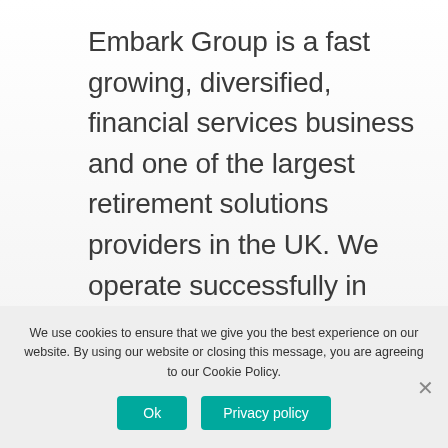Embark Group is a fast growing, diversified, financial services business and one of the largest retirement solutions providers in the UK. We operate successfully in both the advised and institutional areas of the retirement market through our leading range of pension, wrap platform, multi-asset funds, research and consultancy services.  In January 2020, Embark Group became part of
We use cookies to ensure that we give you the best experience on our website. By using our website or closing this message, you are agreeing to our Cookie Policy.